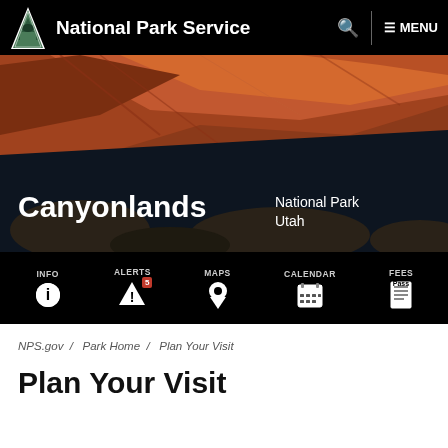National Park Service   🔍   ≡ MENU
[Figure (photo): Hero image of Canyonlands National Park — dramatic red sandstone rock arch and canyon landscape with dark blue sky below. Text overlay: 'Canyonlands' on the left, 'National Park / Utah' on the right.]
[Figure (infographic): Black icon navigation bar with five items: INFO (circle-i icon), ALERTS (triangle warning icon with badge '5'), MAPS (pin/location icon), CALENDAR (calendar grid icon), FEES (document icon).]
NPS.gov / Park Home / Plan Your Visit
Plan Your Visit